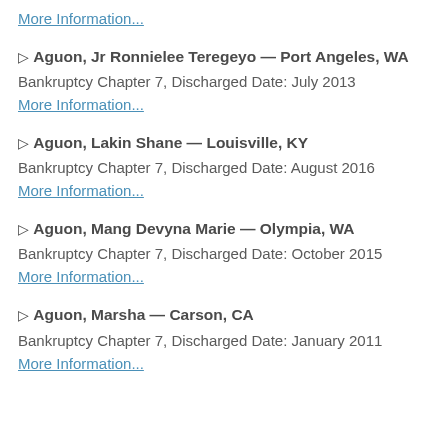More Information...
▷ Aguon, Jr Ronnielee Teregeyo — Port Angeles, WA
Bankruptcy Chapter 7, Discharged Date: July 2013
More Information...
▷ Aguon, Lakin Shane — Louisville, KY
Bankruptcy Chapter 7, Discharged Date: August 2016
More Information...
▷ Aguon, Mang Devyna Marie — Olympia, WA
Bankruptcy Chapter 7, Discharged Date: October 2015
More Information...
▷ Aguon, Marsha — Carson, CA
Bankruptcy Chapter 7, Discharged Date: January 2011
More Information...